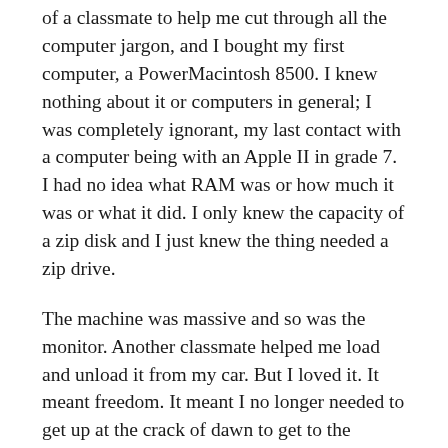of a classmate to help me cut through all the computer jargon, and I bought my first computer, a PowerMacintosh 8500. I knew nothing about it or computers in general; I was completely ignorant, my last contact with a computer being with an Apple II in grade 7. I had no idea what RAM was or how much it was or what it did. I only knew the capacity of a zip disk and I just knew the thing needed a zip drive.
The machine was massive and so was the monitor. Another classmate helped me load and unload it from my car. But I loved it. It meant freedom. It meant I no longer needed to get up at the crack of dawn to get to the college library before the doors open so I could be at the front of the line for a machine. It meant I could pull all-nighters in the comfort of my home. It meant I had time and space to blindly stab at it and figure out the programs. I have no